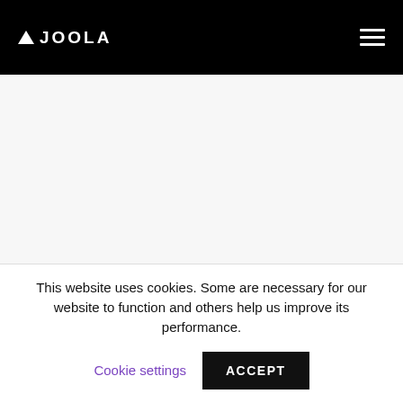JOOLA
[Figure (other): Main white/light gray content area below the JOOLA header navigation bar]
This website uses cookies. Some are necessary for our website to function and others help us improve its performance.
Cookie settings
ACCEPT